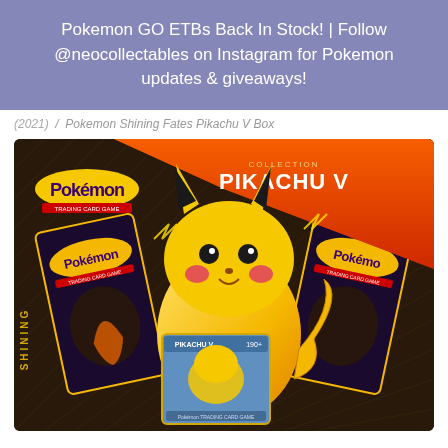Pokemon GO ETBs Back In Stock! | Follow @neocollectables on Instagram for Pokemon updates & giveaways!
(2021) / Pokemon Shining Fates Pikachu V Box
[Figure (photo): Pokemon Trading Card Game Shining Fates Pikachu V Collection box product photo, showing the black and gold box with Pikachu artwork, multiple booster packs fanned out, and a large Pikachu V card in the foreground.]